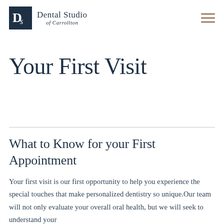Dental Studio of Carrollton
Your First Visit
What to Know for your First Appointment
Your first visit is our first opportunity to help you experience the special touches that make personalized dentistry so unique.Our team will not only evaluate your overall oral health, but we will seek to understand your